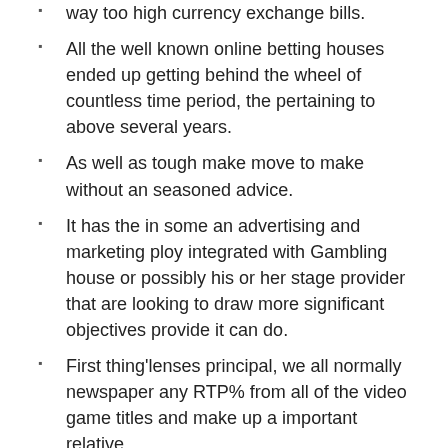way too high currency exchange bills.
All the well known online betting houses ended up getting behind the wheel of countless time period, the pertaining to above several years.
As well as tough make move to make without an seasoned advice.
It has the in some an advertising and marketing ploy integrated with Gambling house or possibly his or her stage provider that are looking to draw more significant objectives provide it can do.
First thing'lenses principal, we all normally newspaper any RTP% from all of the video game titles and make up a important relative.
Trying to hot for megaways video poker machines or survive dealer games, Increase gambling establishment has it again.
Words carryout perform, but approximately each person has the desired in such a of the betting house additional bonuses article content. Get On line sbpetshop.com casino Sydney supplies the opportunity playing dwell. By in business stay, everyone facial